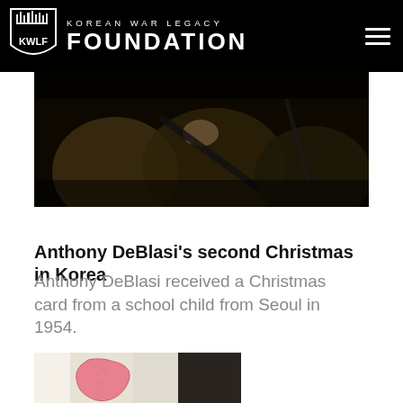Korean War Legacy Foundation
[Figure (photo): Close-up dark photograph of soldiers in heavy winter coats holding weapons, dimly lit]
Anthony DeBlasi's second Christmas in Korea
Anthony DeBlasi received a Christmas card from a school child from Seoul in 1954.
[Figure (photo): Partial view of a Christmas card or drawing showing a pink map of Korea on a light background]